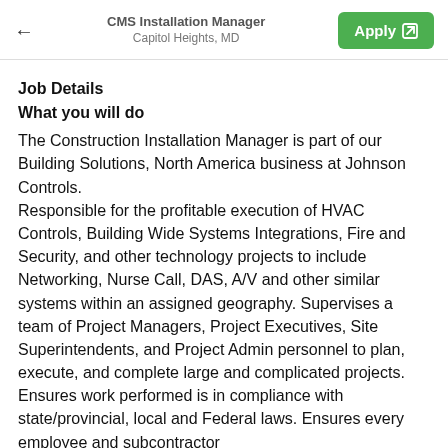CMS Installation Manager
Capitol Heights, MD
Job Details
What you will do
The Construction Installation Manager is part of our Building Solutions, North America business at Johnson Controls.
Responsible for the profitable execution of HVAC Controls, Building Wide Systems Integrations, Fire and Security, and other technology projects to include Networking, Nurse Call, DAS, A/V and other similar systems within an assigned geography. Supervises a team of Project Managers, Project Executives, Site Superintendents, and Project Admin personnel to plan, execute, and complete large and complicated projects. Ensures work performed is in compliance with state/provincial, local and Federal laws. Ensures every employee and subcontractor